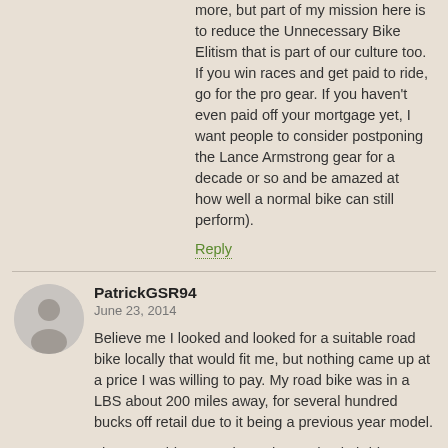more, but part of my mission here is to reduce the Unnecessary Bike Elitism that is part of our culture too. If you win races and get paid to ride, go for the pro gear. If you haven't even paid off your mortgage yet, I want people to consider postponing the Lance Armstrong gear for a decade or so and be amazed at how well a normal bike can still perform).
Reply
PatrickGSR94
June 23, 2014
Believe me I looked and looked for a suitable road bike locally that would fit me, but nothing came up at a price I was willing to pay. My road bike was in a LBS about 200 miles away, for several hundred bucks off retail due to it being a previous year model.
I have an older MTB that I changed to hybrid status, but it just didn't suit my type of riding. And now that I'm commuting over 60 miles per week (31 mile round trip twice a week) a road bike really is more suited to that duty. I did it once on the hybrid MTB and it was awful.